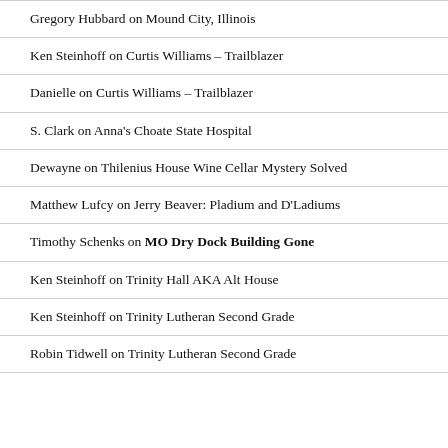Gregory Hubbard on Mound City, Illinois
Ken Steinhoff on Curtis Williams – Trailblazer
Danielle on Curtis Williams – Trailblazer
S. Clark on Anna's Choate State Hospital
Dewayne on Thilenius House Wine Cellar Mystery Solved
Matthew Lufcy on Jerry Beaver: Pladium and D'Ladiums
Timothy Schenks on MO Dry Dock Building Gone
Ken Steinhoff on Trinity Hall AKA Alt House
Ken Steinhoff on Trinity Lutheran Second Grade
Robin Tidwell on Trinity Lutheran Second Grade